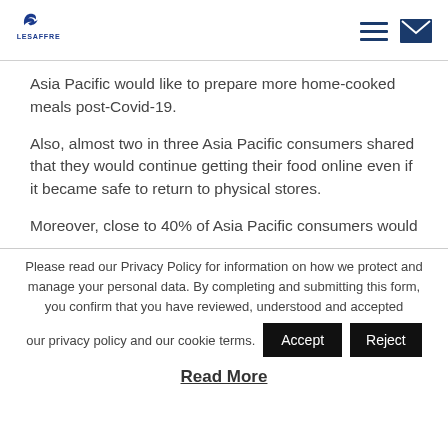Lesaffre logo and navigation icons
Asia Pacific would like to prepare more home-cooked meals post-Covid-19.
Also, almost two in three Asia Pacific consumers shared that they would continue getting their food online even if it became safe to return to physical stores.
Moreover, close to 40% of Asia Pacific consumers would
Please read our Privacy Policy for information on how we protect and manage your personal data. By completing and submitting this form, you confirm that you have reviewed, understood and accepted our privacy policy and our cookie terms.
Accept
Reject
Read More